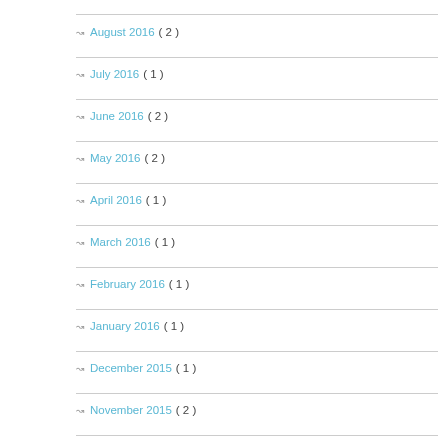August 2016 ( 2 )
July 2016 ( 1 )
June 2016 ( 2 )
May 2016 ( 2 )
April 2016 ( 1 )
March 2016 ( 1 )
February 2016 ( 1 )
January 2016 ( 1 )
December 2015 ( 1 )
November 2015 ( 2 )